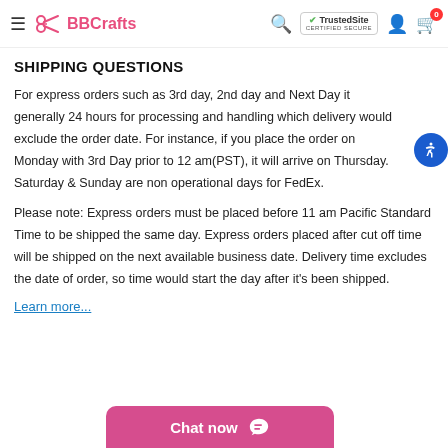BBCrafts — TrustedSite CERTIFIED SECURE — Search, Account, Cart (0)
SHIPPING QUESTIONS
For express orders such as 3rd day, 2nd day and Next Day it generally 24 hours for processing and handling which delivery would exclude the order date. For instance, if you place the order on Monday with 3rd Day prior to 12 am(PST), it will arrive on Thursday. Saturday & Sunday are non operational days for FedEx.
Please note: Express orders must be placed before 11 am Pacific Standard Time to be shipped the same day. Express orders placed after cut off time will be shipped on the next available business date. Delivery time excludes the date of order, so time would start the day after it's been shipped.
Learn more...